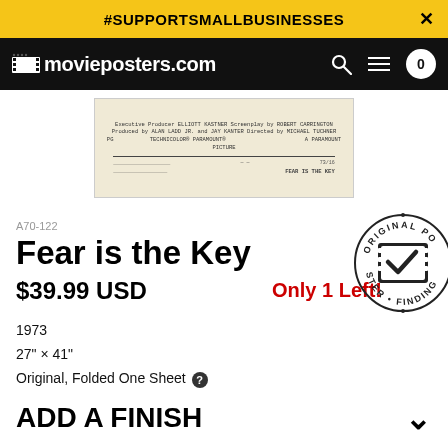#SUPPORTSMALLBUSINESSES
[Figure (screenshot): movieposters.com navigation bar with logo, search, menu, and cart icons on black background]
[Figure (photo): Bottom portion of a vintage movie poster with credits text and Paramount Pictures logo on cream/yellow background]
A70-122
Fear is the Key
$39.99 USD
Only 1 Left!
[Figure (logo): Original Poster stamp/badge circle with film reel checkmark icon]
1973
27" × 41"
Original, Folded One Sheet ?
ADD A FINISH